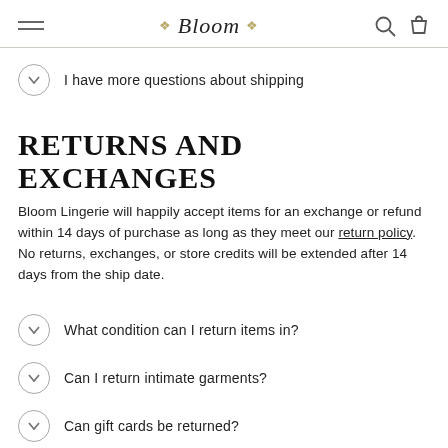Bloom
I have more questions about shipping
RETURNS AND EXCHANGES
Bloom Lingerie will happily accept items for an exchange or refund within 14 days of purchase as long as they meet our return policy. No returns, exchanges, or store credits will be extended after 14 days from the ship date.
What condition can I return items in?
Can I return intimate garments?
Can gift cards be returned?